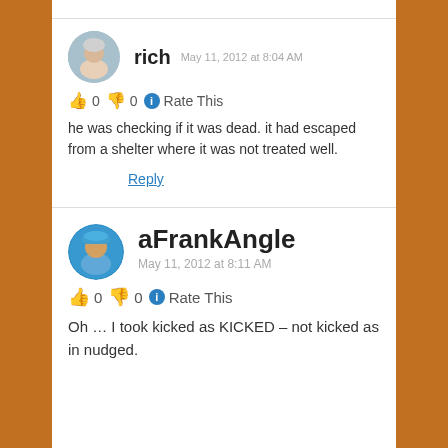rich  May 11, 2012 at 8:04 AM
👍 0 👎 0 ℹ Rate This
he was checking if it was dead. it had escaped from a shelter where it was not treated well.
Reply
aFrankAngle  May 11, 2012 at 8:11 AM
👍 0 👎 0 ℹ Rate This
Oh … I took kicked as KICKED – not kicked as in nudged.